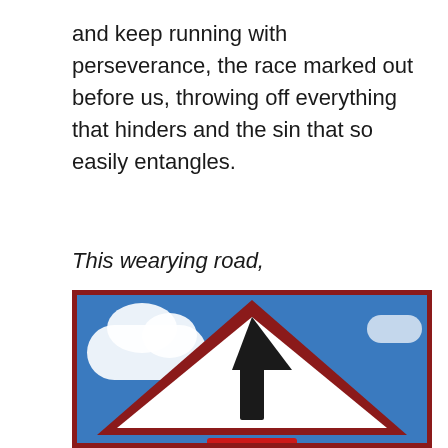and keep running with perseverance, the race marked out before us, throwing off everything that hinders and the sin that so easily entangles.
This wearying road,
[Figure (photo): A triangular road warning sign with a dark upward-pointing arrow inside, set against a blue sky with white clouds. The sign has a red/dark-red border. Below the triangle is a rectangular red sign partially visible showing letters 'THE'.]